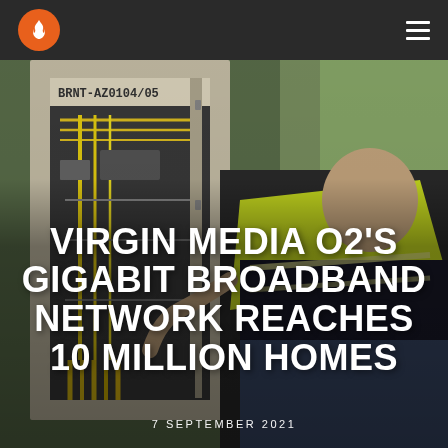[Figure (photo): A telecom engineer in a high-visibility yellow vest working on a broadband network cabinet outdoors. The cabinet has label 'BRNT-AZ0104/05' visible. The engineer is crouching and handling cables including yellow fiber optic cables.]
Virgin Media O2 logo (flame icon in orange circle) and hamburger menu icon on dark header bar
VIRGIN MEDIA O2'S GIGABIT BROADBAND NETWORK REACHES 10 MILLION HOMES
7 SEPTEMBER 2021